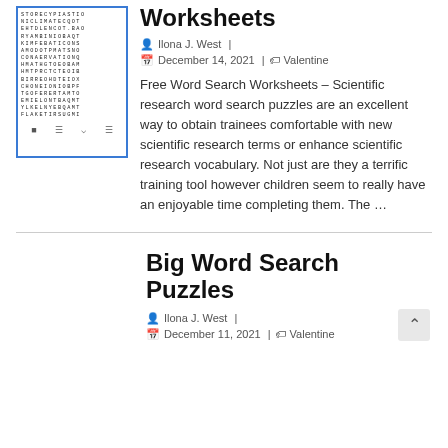[Figure (illustration): Thumbnail of a word search puzzle worksheet with a blue border, showing a grid of letters and alignment icons at the bottom.]
Worksheets
Ilona J. West  |
December 14, 2021  |  Valentine
Free Word Search Worksheets – Scientific research word search puzzles are an excellent way to obtain trainees comfortable with new scientific research terms or enhance scientific research vocabulary. Not just are they a terrific training tool however children seem to really have an enjoyable time completing them. The …
Big Word Search Puzzles
Ilona J. West  |
December 11, 2021  |  Valentine